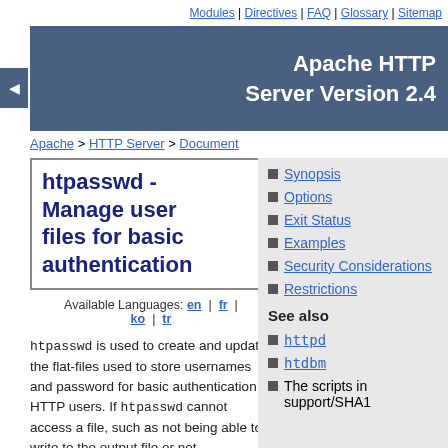Modules | Directives | FAQ | Glossary | Sitemap
Apache HTTP Server Version 2.4
Apache > HTTP Server > Document
htpasswd - Manage user files for basic authentication
Available Languages: en | fr | ko | tr
htpasswd is used to create and update the flat-files used to store usernames and password for basic authentication of HTTP users. If htpasswd cannot access a file, such as not being able to write to the output file or not
Synopsis
Options
Exit Status
Examples
Security Considerations
Restrictions
See also
httpd
htdbm
The scripts in support/SHA1